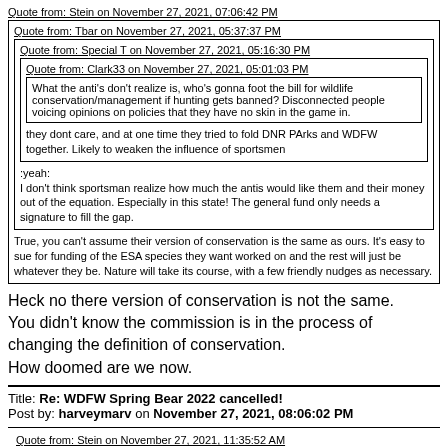Quote from: Stein on November 27, 2021, 07:06:42 PM
Quote from: Tbar on November 27, 2021, 05:37:37 PM
Quote from: Special T on November 27, 2021, 05:16:30 PM
Quote from: Clark33 on November 27, 2021, 05:01:03 PM
What the anti's don't realize is, who's gonna foot the bill for wildlife conservation/management if hunting gets banned?  Disconnected people voicing opinions on policies that they have no skin in the game in.
they dont care, and at one time they tried to fold DNR PArks and WDFW together. Likely to weaken the influence of sportsmen
:yeah:
I don't think sportsman realize how much the antis would like them and their money out of the equation. Especially in this state! The general fund only needs a signature to fill the gap.
True, you can't assume their version of conservation is the same as ours.  It's easy to sue for funding of the ESA species they want worked on and the rest will just be whatever they be.  Nature will take its course, with a few friendly nudges as necessary.
Heck no there version of conservation is not the same.
You didn't know the commission is in the process of changing the definition of conservation.
How doomed are we now.
Title: Re: WDFW Spring Bear 2022 cancelled!
Post by: harveymarv on November 27, 2021, 08:06:02 PM
Quote from: Stein on November 27, 2021, 11:35:52 AM
What we really need is a PAC, petitioning the ant-hunters is not a high probability event.  We need to create and fund a citizen's initiative, the Spring Bear Protection Act.  The purpose of the act is to protect vulnerable spring bear